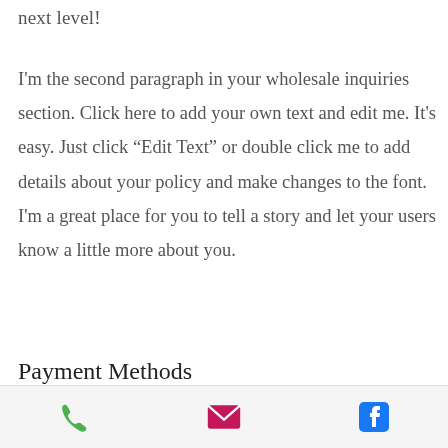next level!
I'm the second paragraph in your wholesale inquiries section. Click here to add your own text and edit me. It's easy. Just click “Edit Text” or double click me to add details about your policy and make changes to the font. I'm a great place for you to tell a story and let your users know a little more about you.
Payment Methods
Credit / Debit Cards
Phone | Email | Facebook icons